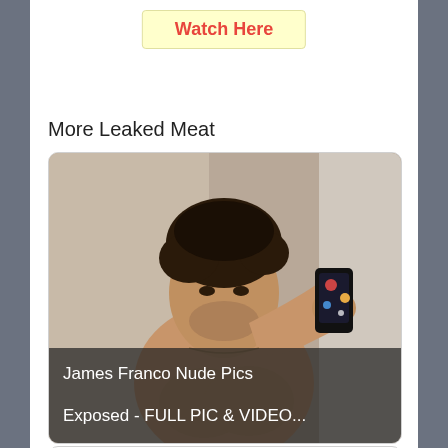Watch Here
More Leaked Meat
[Figure (photo): A shirtless man taking a mirror selfie holding a black smartphone. Text overlay at bottom reads: James Franco Nude Pics Exposed - FULL PIC & VIDEO...]
James Franco Nude Pics Exposed - FULL PIC & VIDEO...